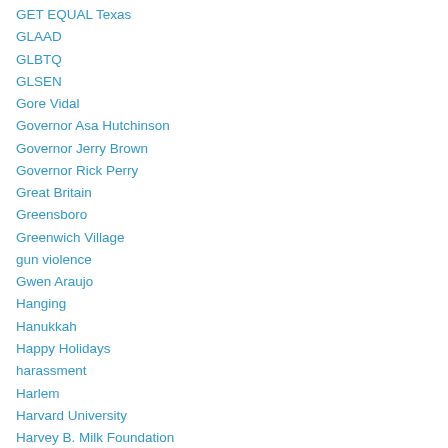GET EQUAL Texas
GLAAD
GLBTQ
GLSEN
Gore Vidal
Governor Asa Hutchinson
Governor Jerry Brown
Governor Rick Perry
Great Britain
Greensboro
Greenwich Village
gun violence
Gwen Araujo
Hanging
Hanukkah
Happy Holidays
harassment
Harlem
Harvard University
Harvey B. Milk Foundation